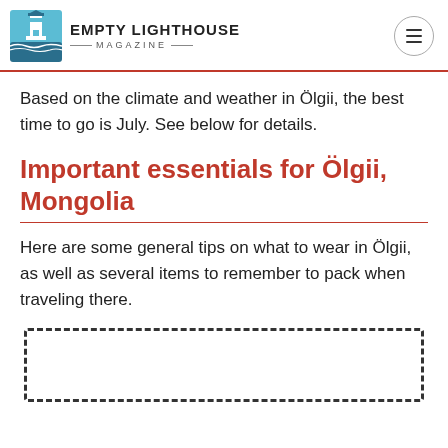EMPTY LIGHTHOUSE MAGAZINE
Based on the climate and weather in Ölgii, the best time to go is July. See below for details.
Important essentials for Ölgii, Mongolia
Here are some general tips on what to wear in Ölgii, as well as several items to remember to pack when traveling there.
[Figure (other): Dashed border box placeholder for advertisement or content]